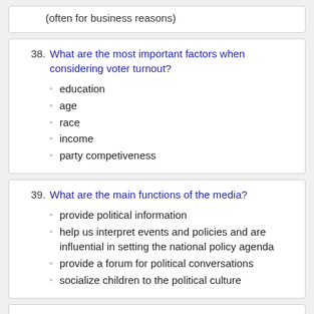(often for business reasons)
38. What are the most important factors when considering voter turnout?
education
age
race
income
party competiveness
39. What are the main functions of the media?
provide political information
help us interpret events and policies and are influential in setting the national policy agenda
provide a forum for political conversations
socialize children to the political culture
40. the process by which the media set a context that